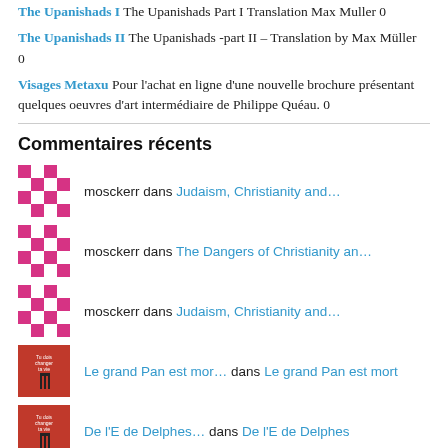The Upanishads I The Upanishads Part I Translation Max Muller 0
The Upanishads II The Upanishads -part II – Translation by Max Müller 0
Visages Metaxu Pour l'achat en ligne d'une nouvelle brochure présentant quelques oeuvres d'art intermédiaire de Philippe Quéau. 0
Commentaires récents
mosckerr dans Judaism, Christianity and…
mosckerr dans The Dangers of Christianity an…
mosckerr dans Judaism, Christianity and…
Le grand Pan est mor… dans Le grand Pan est mort
De l'E de Delphes… dans De l'E de Delphes